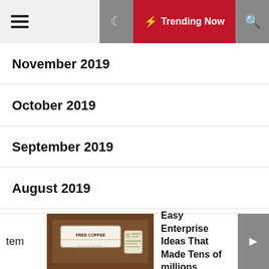Trending Now
November 2019
October 2019
September 2019
August 2019
July 2019
June 2019
May 2019
tem
[Figure (photo): Image of a 'Free Coffee' card/coupon on a light background]
Easy Enterprise Ideas That Made Tens of millions